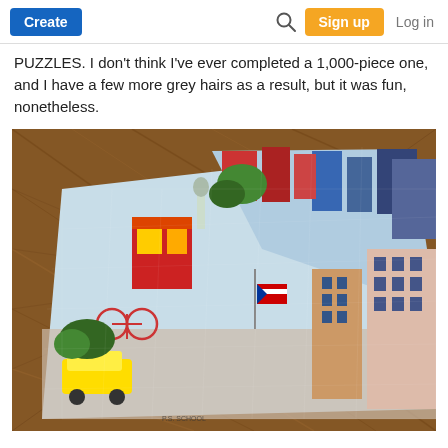Create | Search | Sign up | Log in
PUZZLES. I don't think I've ever completed a 1,000-piece one, and I have a few more grey hairs as a result, but it was fun, nonetheless.
[Figure (photo): A completed colorful jigsaw puzzle showing a vibrant illustrated city scene (appears to be New York City with buildings, streets, a yellow taxi, Statue of Liberty, Puerto Rican flag, and urban details), photographed on a wooden parquet floor from an angled overhead perspective.]